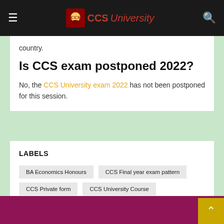CCSUniversity — navigation bar
country.
Is CCS exam postponed 2022?
No, the CCS University exam 2022 has not been postponed for this session.
LABELS
BA Economics Honours
CCS Final year exam pattern
CCS Private form
CCS University Course